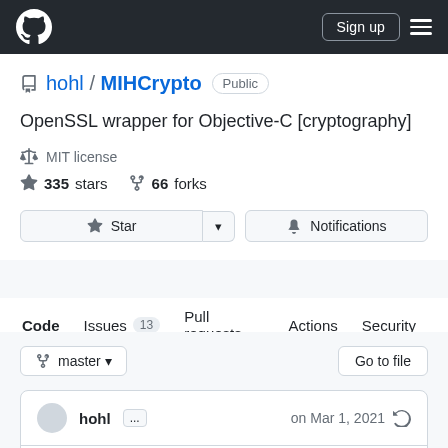GitHub header with logo, Sign up button, and hamburger menu
hohl / MIHCrypto — Public
OpenSSL wrapper for Objective-C [cryptography]
MIT license
335 stars   66 forks
Star   Notifications
Code   Issues 13   Pull requests   Actions   Security
master  Go to file
hohl ...   on Mar 1, 2021
View code